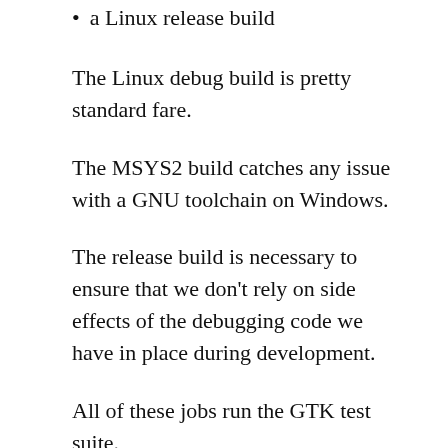a Linux release build
The Linux debug build is pretty standard fare.
The MSYS2 build catches any issue with a GNU toolchain on Windows.
The release build is necessary to ensure that we don't rely on side effects of the debugging code we have in place during development.
All of these jobs run the GTK test suite.
We publish the tests reports both as a JUnit file, taking advantage of GitLab's support; and as an HTML report, stored as a pipeline artifact. This makes it easier for us to check what failed